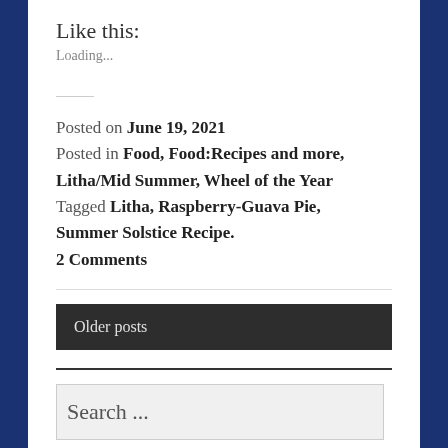Like this:
Loading...
Posted on June 19, 2021
Posted in Food, Food:Recipes and more, Litha/Mid Summer, Wheel of the Year
Tagged Litha, Raspberry-Guava Pie, Summer Solstice Recipe.
2 Comments
Older posts
Search ...